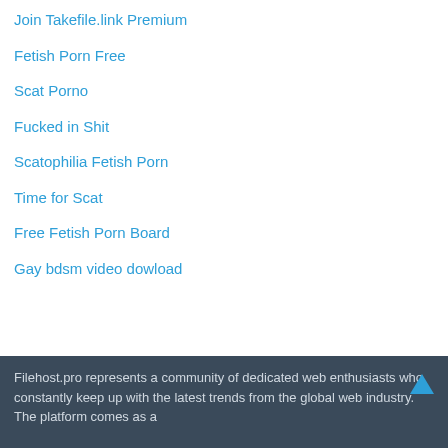Join Takefile.link Premium
Fetish Porn Free
Scat Porno
Fucked in Shit
Scatophilia Fetish Porn
Time for Scat
Free Fetish Porn Board
Gay bdsm video dowload
Filehost.pro represents a community of dedicated web enthusiasts who constantly keep up with the latest trends from the global web industry. The platform comes as a